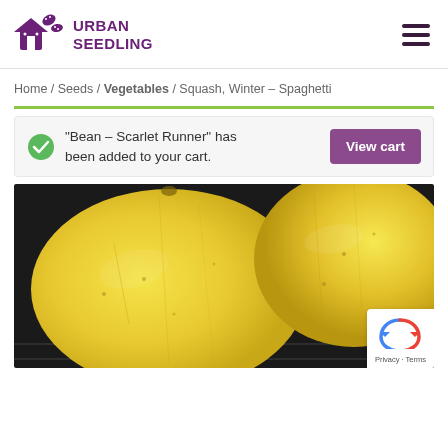Urban Seedling
Home / Seeds / Vegetables / Squash, Winter – Spaghetti
"Bean – Scarlet Runner" has been added to your cart.
[Figure (photo): Close-up photo of yellow spaghetti squash vegetables]